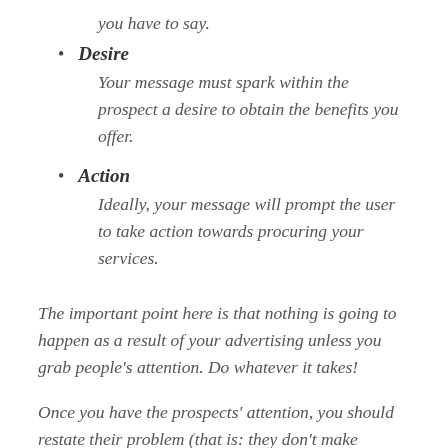you have to say.
Desire
Your message must spark within the prospect a desire to obtain the benefits you offer.
Action
Ideally, your message will prompt the user to take action towards procuring your services.
The important point here is that nothing is going to happen as a result of your advertising unless you grab people's attention. Do whatever it takes!
Once you have the prospects' attention, you should restate their problem (that is: they don't make